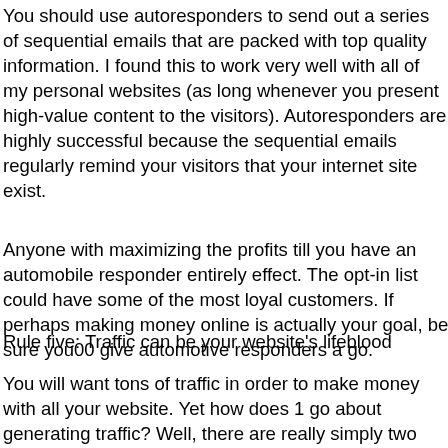You should use autoresponders to send out a series of sequential emails that are packed with top quality information. I found this to work very well with all of my personal websites (as long whenever you present high-value content to the visitors). Autoresponders are highly successful because the sequential emails regularly remind your visitors that your internet site exist.
Anyone with maximizing the profits till you have an automobile responder entirely effect. The opt-in list could have some of the most loyal customers. If perhaps making money online is actually your goal, be sure you00 give automotive responders a go.
Rule five: Traffic can be your website's lifeblood
You will want tons of traffic in order to make money with all your website. Yet how does 1 go about generating traffic? Well, there are really simply two ways to get targeted traffic: SEO and PPC advertising.